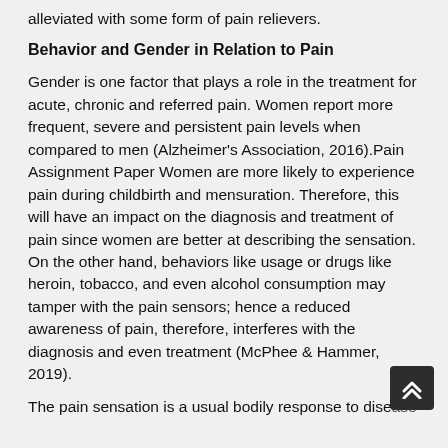alleviated with some form of pain relievers.
Behavior and Gender in Relation to Pain
Gender is one factor that plays a role in the treatment for acute, chronic and referred pain. Women report more frequent, severe and persistent pain levels when compared to men (Alzheimer's Association, 2016).Pain Assignment Paper Women are more likely to experience pain during childbirth and mensuration. Therefore, this will have an impact on the diagnosis and treatment of pain since women are better at describing the sensation. On the other hand, behaviors like usage or drugs like heroin, tobacco, and even alcohol consumption may tamper with the pain sensors; hence a reduced awareness of pain, therefore, interferes with the diagnosis and even treatment (McPhee & Hammer, 2019).
The pain sensation is a usual bodily response to disease